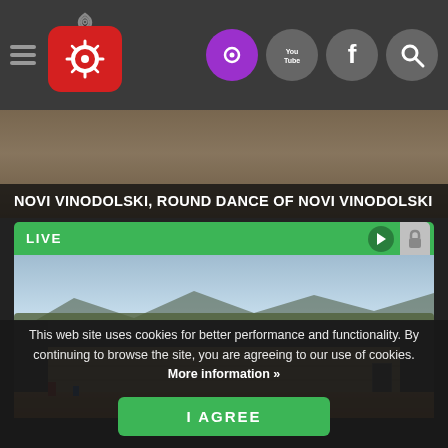[Figure (screenshot): Navigation bar with hamburger menu, red camera logo with wifi icon, and right-side icons: purple webcam circle, YouTube circle, Facebook circle, search circle]
[Figure (photo): Crowd at an outdoor event, dark overlay at bottom with white text title bar]
NOVI VINODOLSKI, ROUND DANCE OF NOVI VINODOLSKI
[Figure (photo): LIVE webcam view of a large industrial building/warehouse with metal roof, mountains and sky in background, green LIVE bar at top with play and lock icons]
This web site uses cookies for better performance and functionality. By continuing to browse the site, you are agreeing to our use of cookies. More information »
[Figure (other): I AGREE green button for cookie consent]